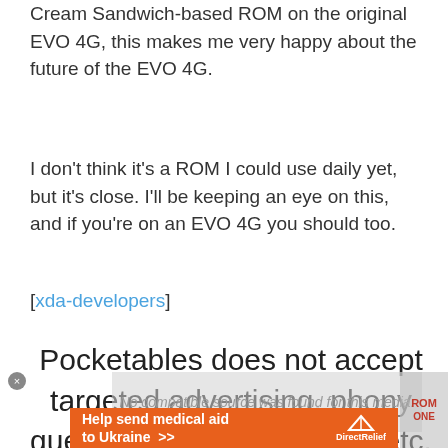Cream Sandwich-based ROM on the original EVO 4G, this makes me very happy about the future of the EVO 4G.
I don’t think it’s a ROM I could use daily yet, but it’s close. I’ll be keeping an eye on this, and if you’re on an EVO 4G you should too.
[xda-developers]
Pocketables does not accept targeted advertising, phony guest posts, paid reviews, etc. Help us keep this way with support on Patreon.
[Figure (other): Video overlay with text 'No compatible source was found for this media.']
[Figure (other): Orange advertisement banner: 'Help send medical aid to Ukraine' with Direct Relief logo and arrow icon.]